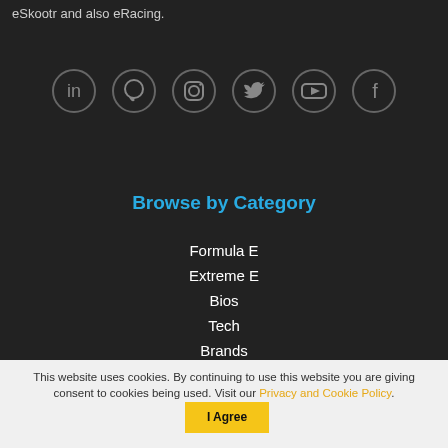eSkootr and also eRacing.
[Figure (illustration): Six social media icon circles in a row: LinkedIn, WhatsApp, Instagram, Twitter, YouTube, Facebook — dark gray outlined circles on dark background]
Browse by Category
Formula E
Extreme E
Bios
Tech
Brands
Others
This website uses cookies. By continuing to use this website you are giving consent to cookies being used. Visit our Privacy and Cookie Policy.
I Agree